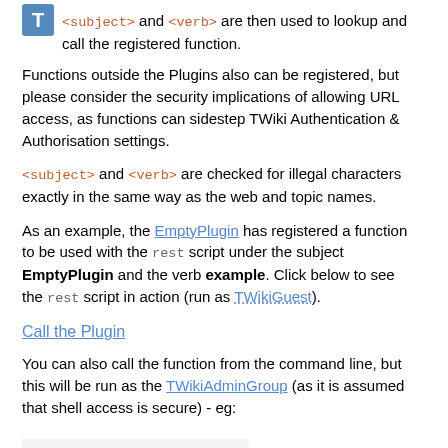<subject> and <verb> are then used to lookup and call the registered function.
Functions outside the Plugins also can be registered, but please consider the security implications of allowing URL access, as functions can sidestep TWiki Authentication & Authorisation settings.
<subject> and <verb> are checked for illegal characters exactly in the same way as the web and topic names.
As an example, the EmptyPlugin has registered a function to be used with the rest script under the subject EmptyPlugin and the verb example. Click below to see the rest script in action (run as TWikiGuest).
Call the Plugin
You can also call the function from the command line, but this will be run as the TWikiAdminGroup (as it is assumed that shell access is secure) - eg:
./rest EmptyPlugin.example
Note that for calls to Plugins, they must be enabled in